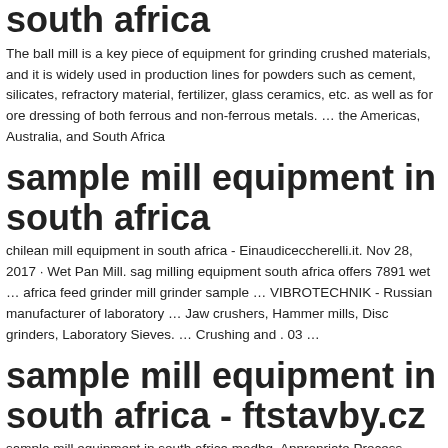south africa
The ball mill is a key piece of equipment for grinding crushed materials, and it is widely used in production lines for powders such as cement, silicates, refractory material, fertilizer, glass ceramics, etc. as well as for ore dressing of both ferrous and non-ferrous metals. … the Americas, Australia, and South Africa
sample mill equipment in south africa
chilean mill equipment in south africa - Einaudiceccherelli.it. Nov 28, 2017 · Wet Pan Mill. sag milling equipment south africa offers 7891 wet … africa feed grinder mill grinder sample … VIBROTECHNIK - Russian manufacturer of laboratory … Jaw crushers, Hammer mills, Disc grinders, Laboratory Sieves. … Crushing and . 03 …
sample mill equipment in south africa - ftstavby.cz
sample mill equipment in south africa madhq. Appropriate Process Technologies Mining Equipment. Positioned near a historical stamp mill